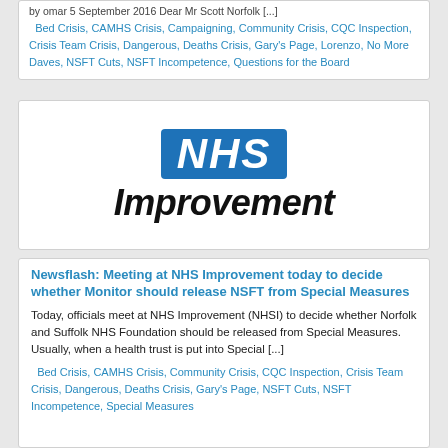by omar 5 September 2016 Dear Mr Scott Norfolk [...]
Bed Crisis, CAMHS Crisis, Campaigning, Community Crisis, CQC Inspection, Crisis Team Crisis, Dangerous, Deaths Crisis, Gary's Page, Lorenzo, No More Daves, NSFT Cuts, NSFT Incompetence, Questions for the Board
[Figure (logo): NHS Improvement logo — blue rectangle with white italic bold NHS text, below which is large bold italic black 'Improvement' text]
Newsflash: Meeting at NHS Improvement today to decide whether Monitor should release NSFT from Special Measures
Today, officials meet at NHS Improvement (NHSI) to decide whether Norfolk and Suffolk NHS Foundation should be released from Special Measures. Usually, when a health trust is put into Special [...]
Bed Crisis, CAMHS Crisis, Community Crisis, CQC Inspection, Crisis Team Crisis, Dangerous, Deaths Crisis, Gary's Page, NSFT Cuts, NSFT Incompetence, Special Measures